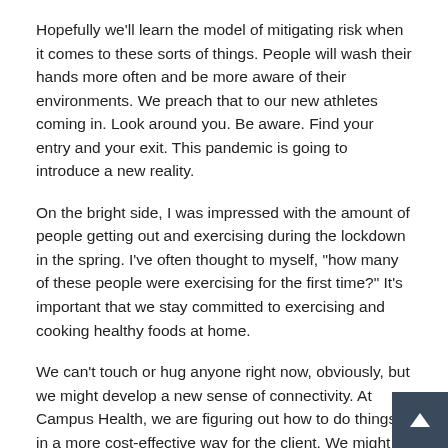Hopefully we'll learn the model of mitigating risk when it comes to these sorts of things. People will wash their hands more often and be more aware of their environments. We preach that to our new athletes coming in. Look around you. Be aware. Find your entry and your exit. This pandemic is going to introduce a new reality.
On the bright side, I was impressed with the amount of people getting out and exercising during the lockdown in the spring. I've often thought to myself, "how many of these people were exercising for the first time?" It's important that we stay committed to exercising and cooking healthy foods at home.
We can't touch or hug anyone right now, obviously, but we might develop a new sense of connectivity. At Campus Health, we are figuring out how to do things in a more cost-effective way for the client. We might be able to use these new and emerging technologies to reduce costs, improve people's overall well-being and reimagine the ways in which we use our time.